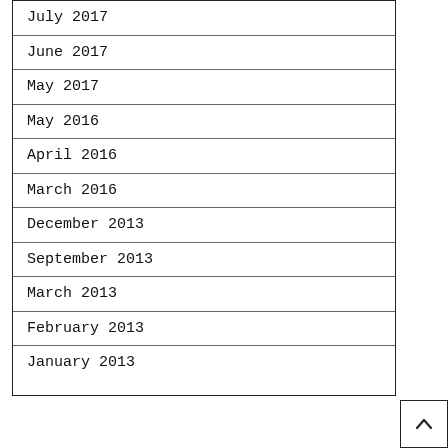July 2017
June 2017
May 2017
May 2016
April 2016
March 2016
December 2013
September 2013
March 2013
February 2013
January 2013